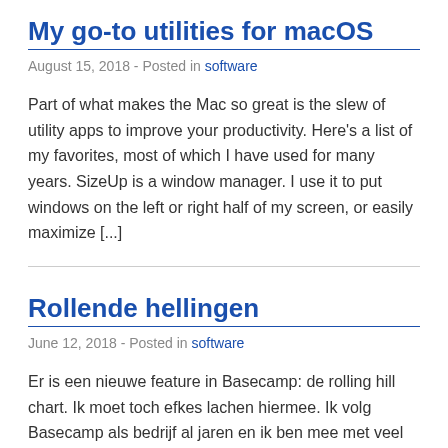My go-to utilities for macOS
August 15, 2018 - Posted in software
Part of what makes the Mac so great is the slew of utility apps to improve your productivity. Here’s a list of my favorites, most of which I have used for many years. SizeUp is a window manager. I use it to put windows on the left or right half of my screen, or easily maximize [...]
Rollende hellingen
June 12, 2018 - Posted in software
Er is een nieuwe feature in Basecamp: de rolling hill chart. Ik moet toch efkes lachen hiermee. Ik volg Basecamp als bedrijf al jaren en ik ben mee met veel van hun ideeën.